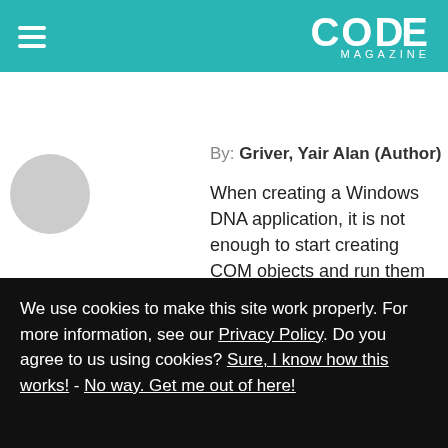CODE MAGAZINE
By: Griver, Yair Alan (Author)
When creating a Windows DNA application, it is not enough to start creating COM objects and run them under MTS.Rather what is needed is a standard approach to analyzing DNA applications. This article provides a pattern language for COM objects. The purpose of this pattern language is to standardize discussion of types of components so that the design of these applications becomes more
We use cookies to make this site work properly. For more information, see our Privacy Policy. Do you agree to us using cookies? Sure, I know how this works! - No way. Get me out of here!